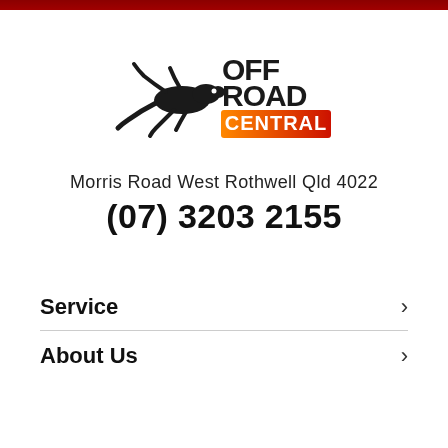[Figure (logo): Off Road Central logo with a lizard/gecko silhouette and bold text reading OFF ROAD CENTRAL in black, orange, and red]
Morris Road West Rothwell Qld 4022
(07) 3203 2155
Service
About Us